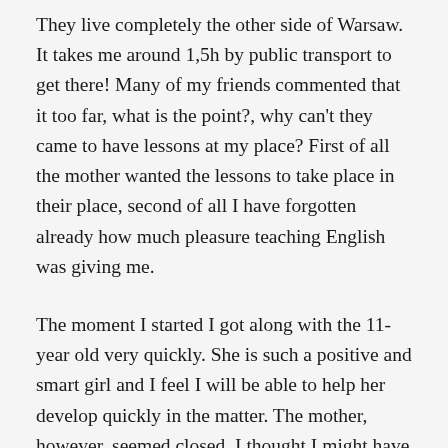They live completely the other side of Warsaw. It takes me around 1,5h by public transport to get there! Many of my friends commented that it too far, what is the point?, why can't they came to have lessons at my place? First of all the mother wanted the lessons to take place in their place, second of all I have forgotten already how much pleasure teaching English was giving me.
The moment I started I got along with the 11-year old very quickly. She is such a positive and smart girl and I feel I will be able to help her develop quickly in the matter. The mother, however, seemed closed. I thought I might have a big problem with her as for me teaching is not only sharing my knowledge with